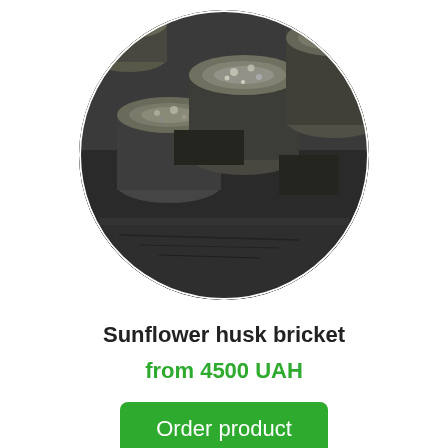[Figure (photo): Circular cropped photo of dark grey sunflower husk briquettes/brickets stacked together, showing cylindrical compressed biomass fuel pieces with rough textured ends]
Sunflower husk bricket
from 4500 UAH
Order product